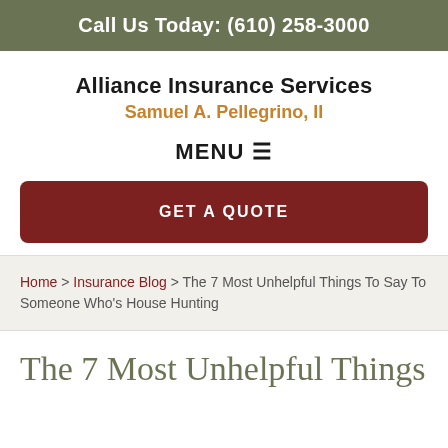Call Us Today: (610) 258-3000
Alliance Insurance Services
Samuel A. Pellegrino, II
MENU ☰
GET A QUOTE
Home > Insurance Blog > The 7 Most Unhelpful Things To Say To Someone Who's House Hunting
The 7 Most Unhelpful Things